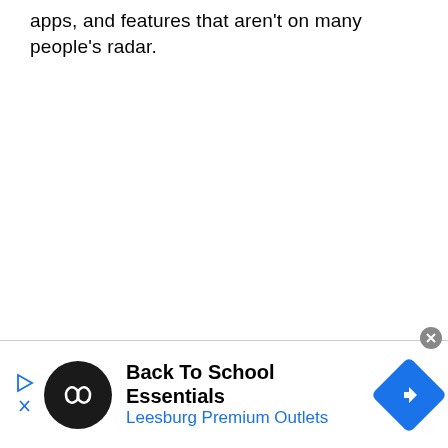apps, and features that aren't on many people's radar.
[Figure (other): Advertisement banner: Back To School Essentials – Leesburg Premium Outlets, with a black circular logo featuring an infinity-like symbol, a blue diamond navigation icon, and ad control icons (play/skip and close button).]